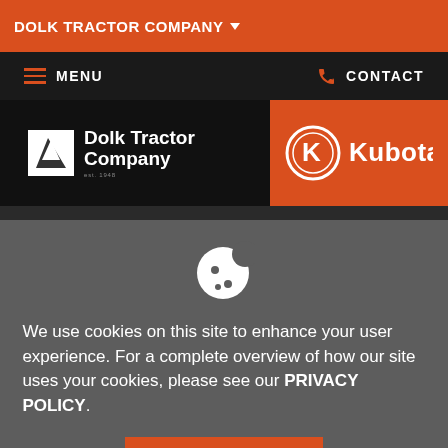DOLK TRACTOR COMPANY
[Figure (logo): Navigation bar with hamburger menu icon (MENU) on left and phone icon with CONTACT on right]
[Figure (logo): Dolk Tractor Company logo on left (white tractor icon with bold white text), Kubota logo on right (orange background with K emblem and Kubota wordmark)]
[Figure (logo): Cookie consent icon - white cookie with bite taken out and chocolate chip dots]
We use cookies on this site to enhance your user experience. For a complete overview of how our site uses your cookies, please see our PRIVACY POLICY.
HIDE MESSAGE